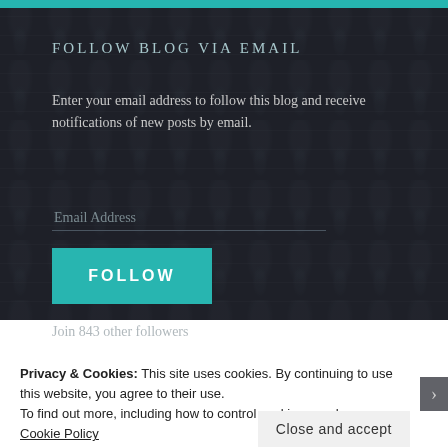FOLLOW BLOG VIA EMAIL
Enter your email address to follow this blog and receive notifications of new posts by email.
Email Address
FOLLOW
Join 843 other followers
Privacy & Cookies: This site uses cookies. By continuing to use this website, you agree to their use.
To find out more, including how to control cookies, see here: Cookie Policy
Close and accept